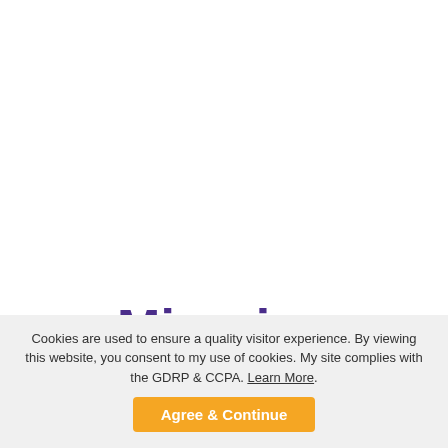Migraine Headache Recipes To Reduce...
Cookies are used to ensure a quality visitor experience. By viewing this website, you consent to my use of cookies. My site complies with the GDRP & CCPA. Learn More.
Agree & Continue